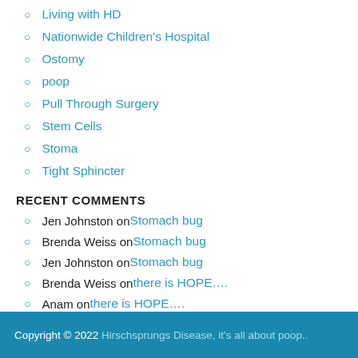Living with HD
Nationwide Children's Hospital
Ostomy
poop
Pull Through Surgery
Stem Cells
Stoma
Tight Sphincter
RECENT COMMENTS
Jen Johnston on Stomach bug
Brenda Weiss on Stomach bug
Jen Johnston on Stomach bug
Brenda Weiss on there is HOPE….
Anam on there is HOPE….
Copyright © 2022 Hirschsprungs Disease, it's all about poop..